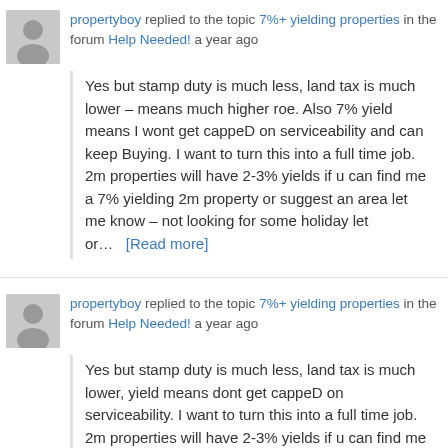propertyboy replied to the topic 7%+ yielding properties in the forum Help Needed! a year ago
Yes but stamp duty is much less, land tax is much lower – means much higher roe. Also 7% yield means I wont get cappeD on serviceability and can keep Buying. I want to turn this into a full time job. 2m properties will have 2-3% yields if u can find me a 7% yielding 2m property or suggest an area let me know – not looking for some holiday let or… [Read more]
propertyboy replied to the topic 7%+ yielding properties in the forum Help Needed! a year ago
Yes but stamp duty is much less, land tax is much lower, yield means dont get cappeD on serviceability. I want to turn this into a full time job. 2m properties will have 2-3% yields if u can find me a 7% yielding 2m property let me know